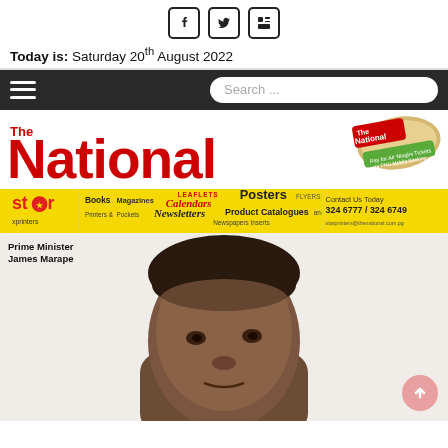[Figure (other): Social media icons: Facebook, Twitter, LinkedIn]
Today is: Saturday 20th August 2022
[Figure (other): Navigation bar with hamburger menu icon and search box]
[Figure (logo): The National newspaper logo with rolled newspaper image]
[Figure (other): Star Printers advertising banner: Books, Magazines, Calendars, Leaflets, Posters, Flyers, Product Catalogues, Newsletters, Newspapers Inserts. Contact Us Today 324 6777 / 324 6749, starprinters@thenational.com.pg]
Prime Minister
James Marape
[Figure (photo): Close-up photo of Prime Minister James Marape, showing his face and upper head]